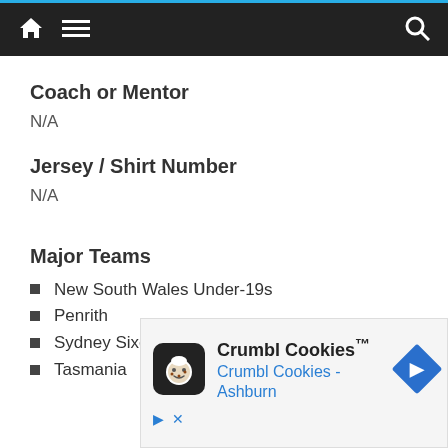Navigation bar with home, menu, and search icons
Coach or Mentor
N/A
Jersey / Shirt Number
N/A
Major Teams
New South Wales Under-19s
Penrith
Sydney Sixers
Tasmania
[Figure (screenshot): Advertisement banner for Crumbl Cookies showing logo, title 'Crumbl Cookies™', subtitle 'Crumbl Cookies - Ashburn', navigation arrow icon, play and close controls]